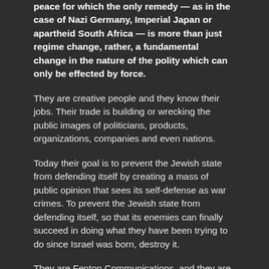peace for which the only remedy — as in the case of Nazi Germany, Imperial Japan or apartheid South Africa — is more than just regime change, rather, a fundamental change in the nature of the polity which can only be effected by force.
They are creative people and they know their jobs. Their trade is building or wrecking the public images of politicians, products, organizations, companies and even nations.
Today their goal is to prevent the Jewish state from defending itself by creating a mass of public opinion that sees its self-defense as war crimes. To prevent the Jewish state from defending itself, so that its enemies can finally succeed in doing what they have been trying to do since Israel was born, destroy it.
They are Fenton Communications, and they are working on their current project as diligently as they did for MoveOn.org, The Body Shop, Greenpeace, Ben and Jerry's and numerous other clients: